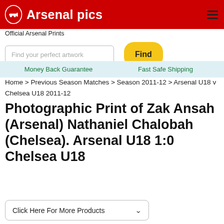Arsenal pics - Official Arsenal Prints
Find your perfect artwork
Money Back Guarantee   Fast Safe Shipping
Home > Previous Season Matches > Season 2011-12 > Arsenal U18 v Chelsea U18 2011-12
Photographic Print of Zak Ansah (Arsenal) Nathaniel Chalobah (Chelsea). Arsenal U18 1:0 Chelsea U18
Click Here For More Products